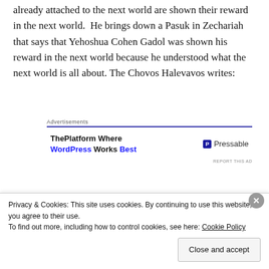already attached to the next world are shown their reward in the next world.  He brings down a Pasuk in Zechariah that says that Yehoshua Cohen Gadol was shown his reward in the next world because he understood what the next world is all about. The Chovos Halevavos writes:
[Figure (other): Advertisement banner for Pressable WordPress hosting: 'ThePlatform Where WordPress Works Best' with Pressable logo]
אחד הטעמים הוא: מפני שאין אנו משיגים איזה צורה
Privacy & Cookies: This site uses cookies. By continuing to use this website, you agree to their use. To find out more, including how to control cookies, see here: Cookie Policy
Close and accept